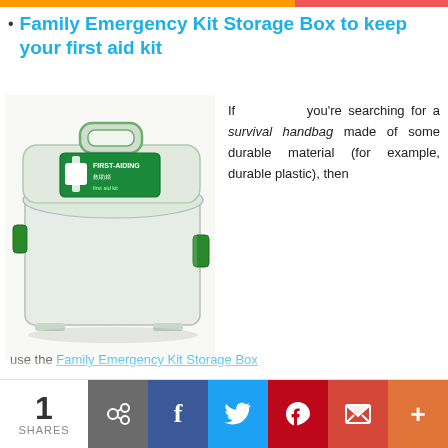Family Emergency Kit Storage Box to keep your first aid kit
[Figure (photo): A transparent plastic first aid storage box with green accents, handle, and a green cross label reading 'FIRST-AID']
If you're searching for a survival handbag made of some durable material (for example, durable plastic), then use the Family Emergency Kit Storage Box
1 SHARES
Social share buttons: link, Facebook, Twitter, Pinterest, Gmail, plus